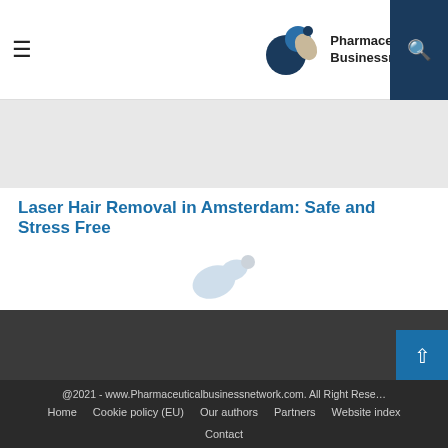Pharmaceutical Businessnetwork
[Figure (logo): Pharmaceutical Businessnetwork logo with circular blue and grey shapes]
[Figure (other): Gray banner/hero image placeholder area]
Laser Hair Removal in Amsterdam: Safe and Stress Free
[Figure (logo): Faded Pharmaceutical Businessnetwork logo watermark]
[Figure (other): Dark gray section background]
@2021 - www.Pharmaceuticalbusinessnetwork.com. All Right Reserved
Home   Cookie policy (EU)   Our authors   Partners   Website index   Contact